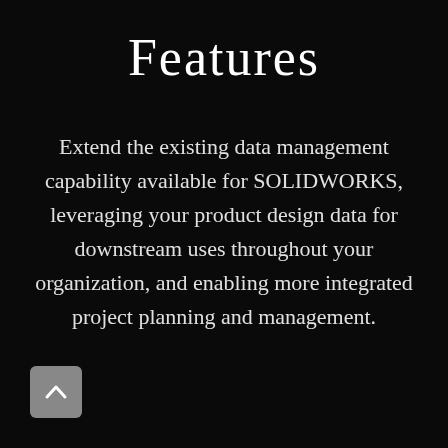Features
Extend the existing data management capability available for SOLIDWORKS, leveraging your product design data for downstream uses throughout your organization, and enabling more integrated project planning and management.
[Figure (other): A grey rounded square button with an upward-pointing chevron/caret arrow icon, serving as a back/scroll-up navigation button.]